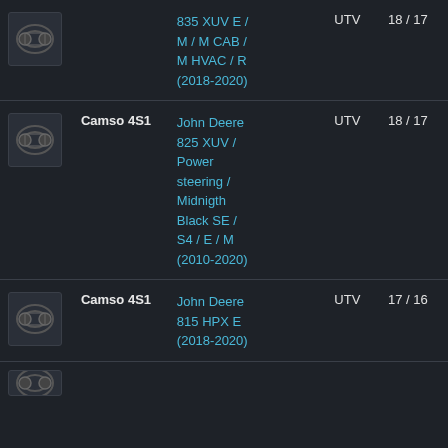| Image | Product | Compatibility | Type | Size |
| --- | --- | --- | --- | --- |
| [track image] | [partial - cut off top] | John Deere 835 XUV E / M / M CAB / M HVAC / R (2018-2020) | UTV | 18 / 17 |
| [track image] | Camso 4S1 | John Deere 825 XUV / Power steering / Midnigth Black SE / S4 / E / M (2010-2020) | UTV | 18 / 17 |
| [track image] | Camso 4S1 | John Deere 815 HPX E (2018-2020) | UTV | 17 / 16 |
| [track image partial] |  |  |  |  |